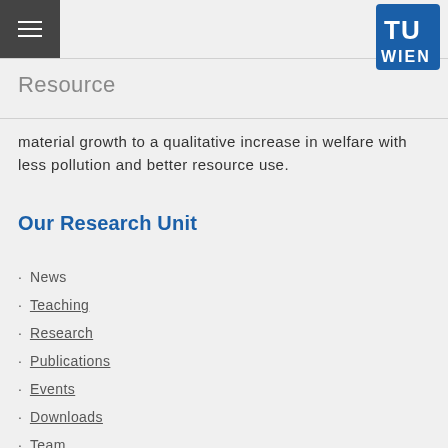Resource
material growth to a qualitative increase in welfare with less pollution and better resource use.
Our Research Unit
News
Teaching
Research
Publications
Events
Downloads
Team
Contact